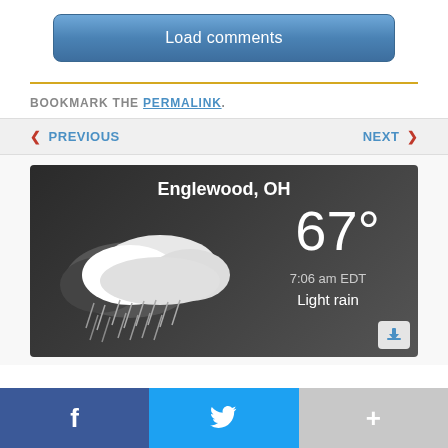Load comments
BOOKMARK THE PERMALINK.
◄ PREVIOUS
NEXT ►
[Figure (screenshot): Weather widget showing Englewood, OH, 67°, 7:06 am EDT, Light rain, with cloud and rain illustration]
f
🐦
+